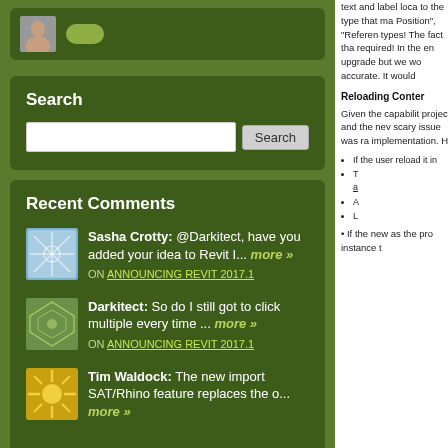[Figure (other): User profile card with avatar photo and speech bubble icon on dark green background]
Search
Search input box with Search button
Recent Comments
Sasha Crotty: @Darkitect, have you added your idea to Revit I... more » ON ANNOUNCING REVIT 2017.1
Darkitect: So do I still got to click multiple every time ... more » ON ANNOUNCING REVIT 2017.1
Tim Waldock: The new import SAT/Rhino feature replaces the o... more » ON ANNOUNCING REVIT 2017.1
text and label loca to the type that ma Position", "Referen types!  The fact tha required!  In the en upgrade but we wo accurate.  It would
Reloading Conter
Given the capabilit project and the nev scary issue was ra implementation.  H
If the user reload it in
The a
A
L
If the new as the pro instance t